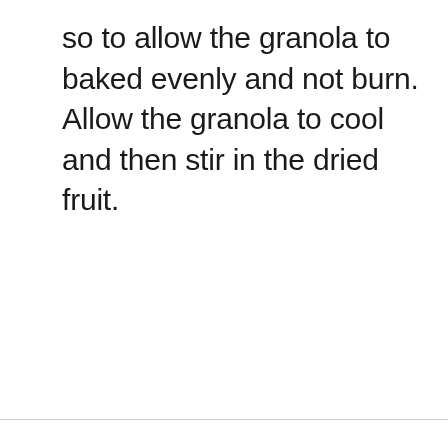so to allow the granola to baked evenly and not burn. Allow the granola to cool and then stir in the dried fruit.